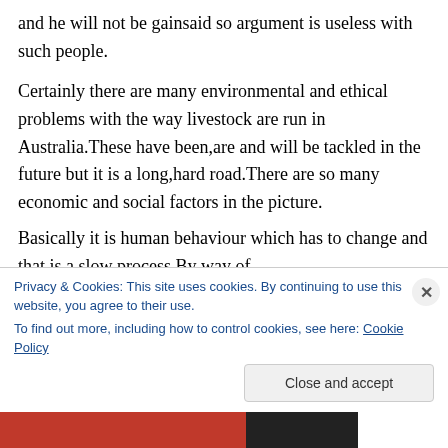and he will not be gainsaid so argument is useless with such people.
Certainly there are many environmental and ethical problems with the way livestock are run in Australia.These have been,are and will be tackled in the future but it is a long,hard road.There are so many economic and social factors in the picture.
Basically it is human behaviour which has to change and that is a slow process.By way of
Privacy & Cookies: This site uses cookies. By continuing to use this website, you agree to their use.
To find out more, including how to control cookies, see here: Cookie Policy
Close and accept